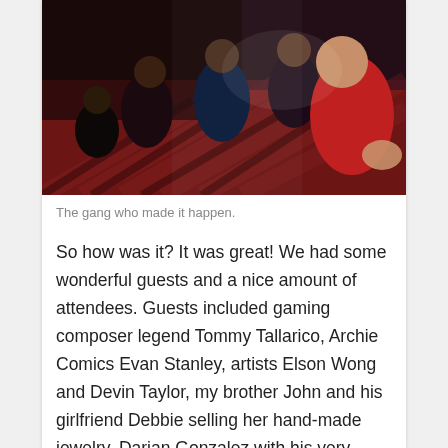[Figure (photo): Group photo of several people posing together in a dimly lit venue, taken as a selfie. People wearing casual clothing including a red shirt, black shirt, plaid shirt. Some giving thumbs up.]
The gang who made it happen.
So how was it? It was great! We had some wonderful guests and a nice amount of attendees. Guests included gaming composer legend Tommy Tallarico, Archie Comics Evan Stanley, artists Elson Wong and Devin Taylor, my brother John and his girlfriend Debbie selling her hand-made jewelry, Darian Gonzalez with his very Sonic-like fan game “Bingo the Multiva” Chris Wilcots of fan film “Sonic Prologue” and rock band Serenity Seven. Not to